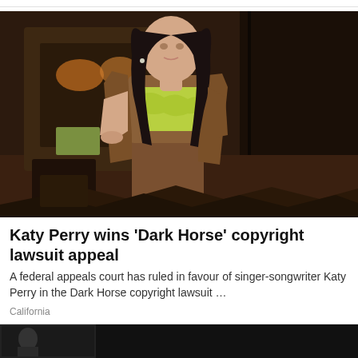[Figure (photo): Katy Perry wearing a yellow-green crop top and brown leather jacket and pants, posing indoors against dark wood paneling]
Katy Perry wins 'Dark Horse' copyright lawsuit appeal
A federal appeals court has ruled in favour of singer-songwriter Katy Perry in the Dark Horse copyright lawsuit …
California
[Figure (photo): Partial thumbnail of another news article image at the bottom of the page]